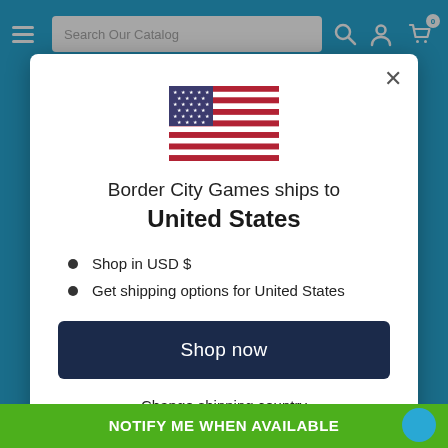Search Our Catalog
[Figure (illustration): US flag SVG illustration centered in modal]
Border City Games ships to United States
Shop in USD $
Get shipping options for United States
Shop now
Change shipping country
NOTIFY ME WHEN AVAILABLE